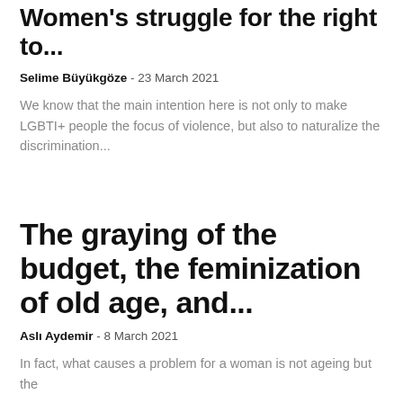Women's struggle for the right to...
Selime Büyükgöze  -  23 March 2021
We know that the main intention here is not only to make LGBTI+ people the focus of violence, but also to naturalize the discrimination...
The graying of the budget, the feminization of old age, and...
Aslı Aydemir  -  8 March 2021
In fact, what causes a problem for a woman is not ageing but the